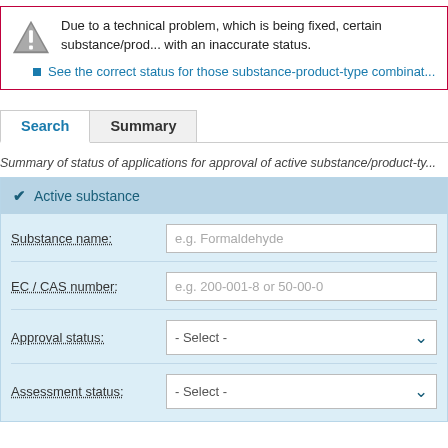Due to a technical problem, which is being fixed, certain substance/prod... with an inaccurate status.
See the correct status for those substance-product-type combinat...
Search | Summary
Summary of status of applications for approval of active substance/product-ty...
Active substance
Substance name: e.g. Formaldehyde
EC / CAS number: e.g. 200-001-8 or 50-00-0
Approval status: - Select -
Assessment status: - Select -